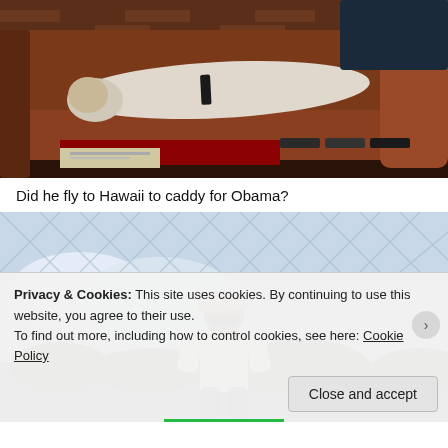[Figure (photo): Person lying on a brown leather couch with remote controls and newspapers on a red surface in front]
Did he fly to Hawaii to caddy for Obama?
[Figure (photo): Person wearing a cap and sunglasses smiling, seen through a chain-link fence, likely at a golf course]
Privacy & Cookies: This site uses cookies. By continuing to use this website, you agree to their use.
To find out more, including how to control cookies, see here: Cookie Policy
Close and accept